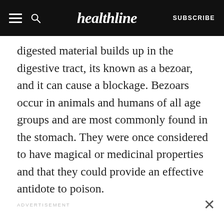healthline | SUBSCRIBE
digested material builds up in the digestive tract, its known as a bezoar, and it can cause a blockage. Bezoars occur in animals and humans of all age groups and are most commonly found in the stomach. They were once considered to have magical or medicinal properties and that they could provide an effective antidote to poison.
ADVERTISEMENT
ADVERTISEMENT